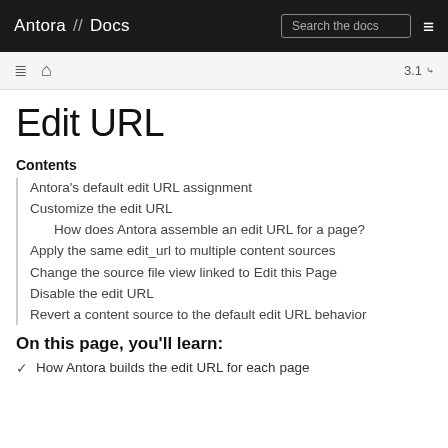Antora // Docs   Search the docs   ☰
Edit URL
Contents
Antora's default edit URL assignment
Customize the edit URL
How does Antora assemble an edit URL for a page?
Apply the same edit_url to multiple content sources
Change the source file view linked to Edit this Page
Disable the edit URL
Revert a content source to the default edit URL behavior
On this page, you'll learn:
How Antora builds the edit URL for each page